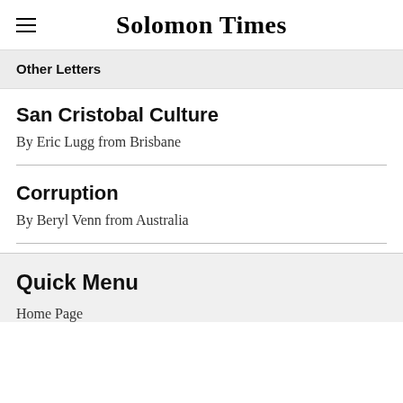Solomon Times
Other Letters
San Cristobal Culture
By Eric Lugg from Brisbane
Corruption
By Beryl Venn from Australia
Quick Menu
Home Page